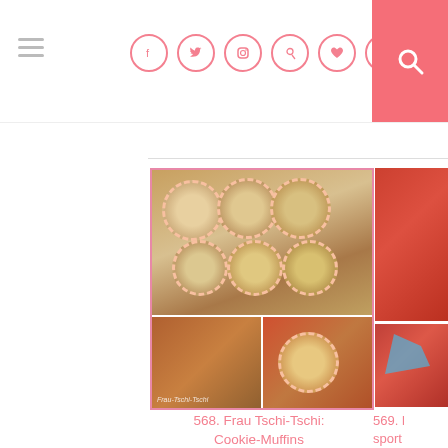Navigation header with hamburger menu, social icons (Facebook, Twitter, Instagram, Pinterest, Heart, Instagram), and search button
[Figure (photo): Collage of cookie-muffins: top image shows multiple muffins from above, bottom-left shows a muffin cut open, bottom-right shows a single muffin in a pink wrapper]
568. Frau Tschi-Tschi: Cookie-Muffins
[Figure (photo): Partial view of red sportswear items (top and bottom sections visible)]
569. (partial)
[Figure (photo): The Spaghetti Chronicles book/blog cover with orange-red background and tree illustration]
[Figure (photo): Partial image on right side showing a light grey/silver sparkly background with partial text]